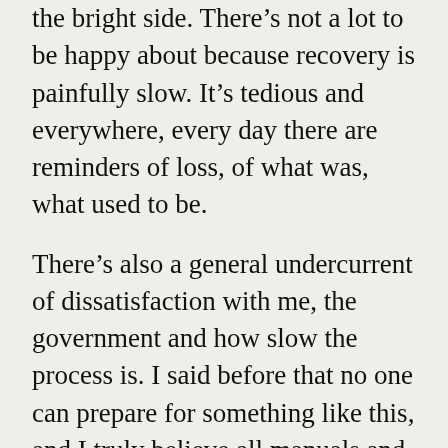the bright side. There's not a lot to be happy about because recovery is painfully slow. It's tedious and everywhere, every day there are reminders of loss, of what was, what used to be.
There's also a general undercurrent of dissatisfaction with me, the government and how slow the process is. I said before that no one can prepare for something like this, and I truly believe all manuals and handbooks on recovery policy are useless in the face of such a catastrophe. I've done the best I could as mayor over the past eight years, but I know many in the town are not happy; and this pains me.
Might the Rugby World Cup help recovery?
Anything that brings in visitors and tourists is welcome. This, obviously, includes the Rugby